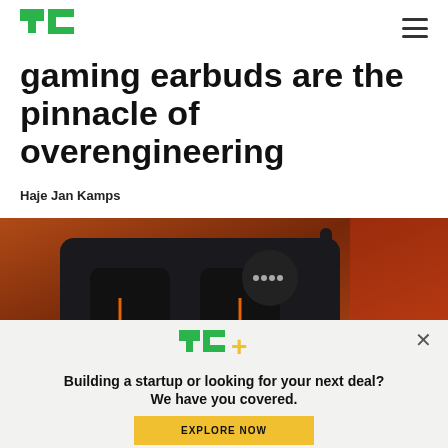TechCrunch
gaming earbuds are the pinnacle of overengineering
Haje Jan Kamps
[Figure (photo): Close-up photo of dark gaming earbuds in a charging case on a wooden surface with orange/red lighting]
Building a startup or looking for your next deal? We have you covered.
EXPLORE NOW